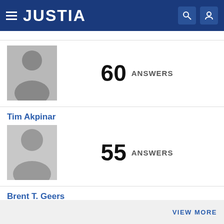JUSTIA
60 ANSWERS
Tim Akpinar
55 ANSWERS
Brent T. Geers
52 ANSWERS
VIEW MORE